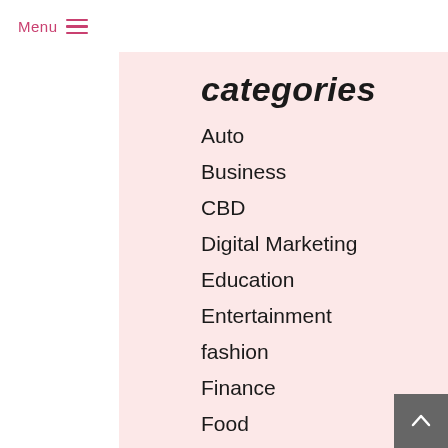Menu
categories
Auto
Business
CBD
Digital Marketing
Education
Entertainment
fashion
Finance
Food
games
General